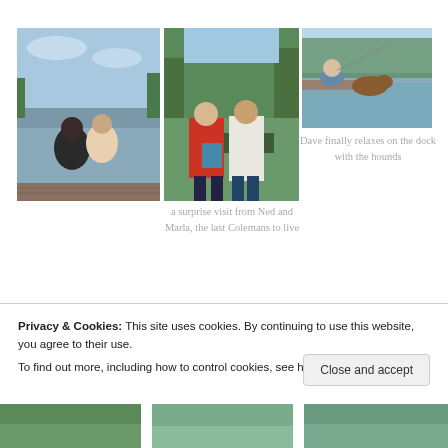[Figure (photo): Two women posing together on a dock near a lake with trees in background]
[Figure (photo): A couple standing outdoors near trees and a boat; woman in red coat, man in white shirt]
[Figure (photo): A person sitting on a dock fishing with a dog nearby on the water]
Dave finally relaxes on the dock with the hounds
a surprise visit from Ned and Marla, the last Colemans to live
Privacy & Cookies: This site uses cookies. By continuing to use this website, you agree to their use.
To find out more, including how to control cookies, see here: Cookie Policy
[Figure (photo): Thumbnail of lake scene]
[Figure (photo): Thumbnail of people outdoors]
[Figure (photo): Thumbnail of lake/nature scene]